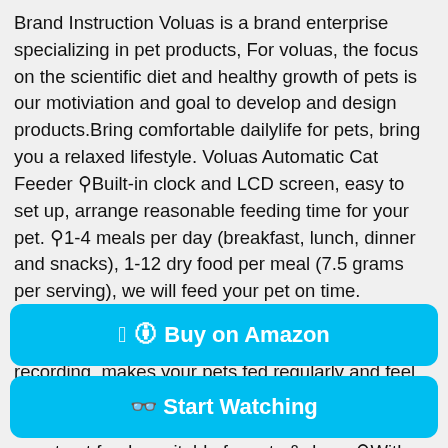Brand Instruction Voluas is a brand enterprise specializing in pet products, For voluas, the focus on the scientific diet and healthy growth of pets is our motiviation and goal to develop and design products.Bring comfortable dailylife for pets, bring you a relaxed lifestyle. Voluas Automatic Cat Feeder ☒Built-in clock and LCD screen, easy to set up, arrange reasonable feeding time for your pet. ☒1-4 meals per day (breakfast, lunch, dinner and snacks), 1-12 dry food per meal (7.5 grams per serving), we will feed your pet on time. ☒Manual feeding button, makes easily to reward your pet (5 grams per serving). ☒10s personalized recording, makes your pets fed regularly and feel safe with well cared. ☒Suitable for dry food only. The size of the food particles is 2-10mm. It's a smart pet feeder suitable for cats & dogs. ☒With just a few minutes of easy programming, Voluas automatic cat feeder can take care of your pet by feeding them periodically.Believe that Voluas cat
Buy on Amazon
Start Watching